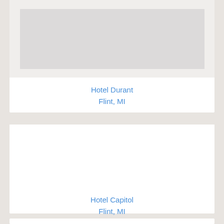[Figure (photo): Partial hotel photo at top of page, mostly white/light colored building exterior]
Hotel Durant
Flint, MI
[Figure (photo): Hotel Capitol image area, mostly white/blank]
Hotel Capitol
Flint, MI